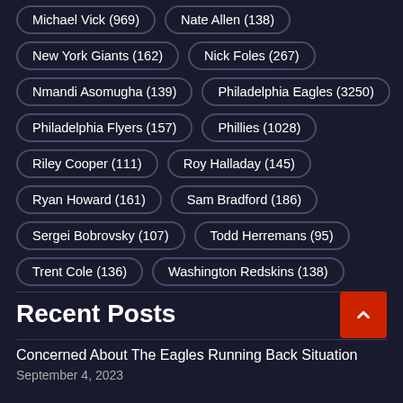Michael Vick (969)
Nate Allen (138)
New York Giants (162)
Nick Foles (267)
Nmandi Asomugha (139)
Philadelphia Eagles (3250)
Philadelphia Flyers (157)
Phillies (1028)
Riley Cooper (111)
Roy Halladay (145)
Ryan Howard (161)
Sam Bradford (186)
Sergei Bobrovsky (107)
Todd Herremans (95)
Trent Cole (136)
Washington Redskins (138)
Recent Posts
Concerned About The Eagles Running Back Situation
September 4, 2023